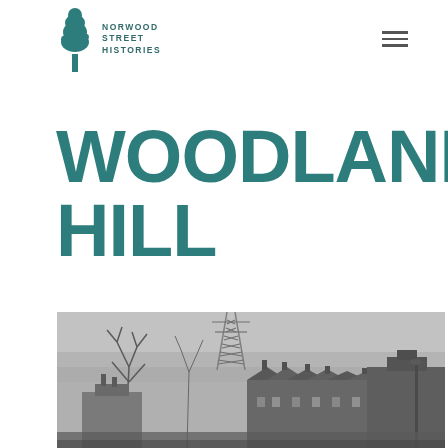[Figure (logo): Norwood Street Histories logo: a tree icon on the left with the text NORWOOD STREET HISTORIES in teal/dark green uppercase letters]
WOODLAND HILL
[Figure (photo): Black and white photograph showing a rooftop view of Woodland Hill street with Victorian terraced houses, a tall lattice electricity/telegraph pylon in the background, bare winter trees, and rows of chimneys in the foreground.]